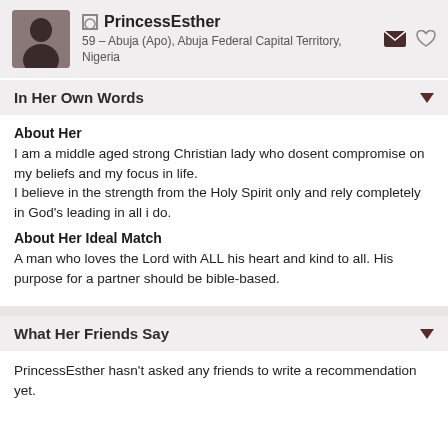PrincessEsther — 59 – Abuja (Apo), Abuja Federal Capital Territory, Nigeria
In Her Own Words
About Her
I am a middle aged strong Christian lady who dosent compromise on my beliefs and my focus in life.
I believe in the strength from the Holy Spirit only and rely completely in God's leading in all i do.
About Her Ideal Match
A man who loves the Lord with ALL his heart and kind to all. His purpose for a partner should be bible-based.
What Her Friends Say
PrincessEsther hasn't asked any friends to write a recommendation yet.